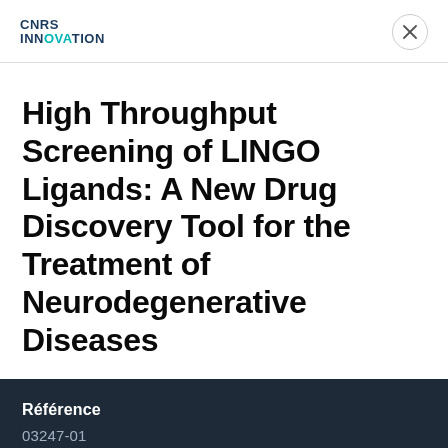CNRS INNOVATION
High Throughput Screening of LINGO Ligands: A New Drug Discovery Tool for the Treatment of Neurodegenerative Diseases
Référence
03247-01